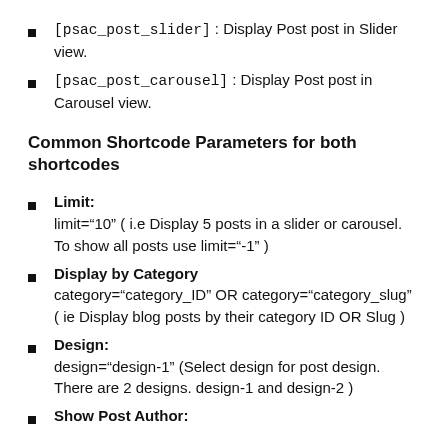[psac_post_slider] : Display Post post in Slider view.
[psac_post_carousel] : Display Post post in Carousel view.
Common Shortcode Parameters for both shortcodes
Limit:
limit="10" ( i.e Display 5 posts in a slider or carousel. To show all posts use limit="-1" )
Display by Category
category="category_ID" OR category="category_slug" ( ie Display blog posts by their category ID OR Slug )
Design:
design="design-1" (Select design for post design. There are 2 designs. design-1 and design-2 )
Show Post Author: